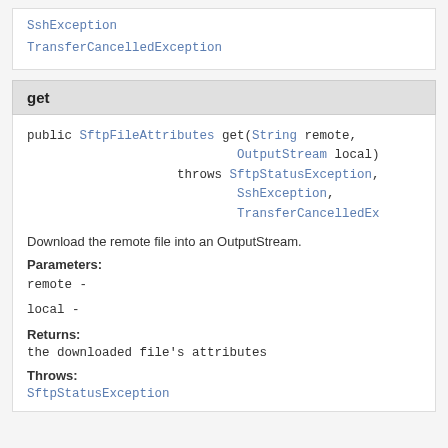SshException
TransferCancelledException
get
public SftpFileAttributes get(String remote, OutputStream local)
    throws SftpStatusException,
           SshException,
           TransferCancelledException
Download the remote file into an OutputStream.
Parameters:
remote -
local -
Returns:
the downloaded file's attributes
Throws:
SftpStatusException